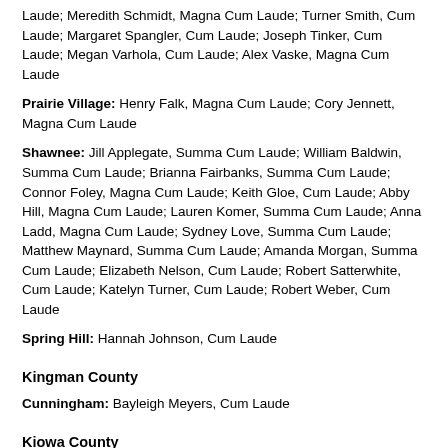Laude; Meredith Schmidt, Magna Cum Laude; Turner Smith, Cum Laude; Margaret Spangler, Cum Laude; Joseph Tinker, Cum Laude; Megan Varhola, Cum Laude; Alex Vaske, Magna Cum Laude
Prairie Village: Henry Falk, Magna Cum Laude; Cory Jennett, Magna Cum Laude
Shawnee: Jill Applegate, Summa Cum Laude; William Baldwin, Summa Cum Laude; Brianna Fairbanks, Summa Cum Laude; Connor Foley, Magna Cum Laude; Keith Gloe, Cum Laude; Abby Hill, Magna Cum Laude; Lauren Komer, Summa Cum Laude; Anna Ladd, Magna Cum Laude; Sydney Love, Summa Cum Laude; Matthew Maynard, Summa Cum Laude; Amanda Morgan, Summa Cum Laude; Elizabeth Nelson, Cum Laude; Robert Satterwhite, Cum Laude; Katelyn Turner, Cum Laude; Robert Weber, Cum Laude
Spring Hill: Hannah Johnson, Cum Laude
Kingman County
Cunningham: Bayleigh Meyers, Cum Laude
Kiowa County